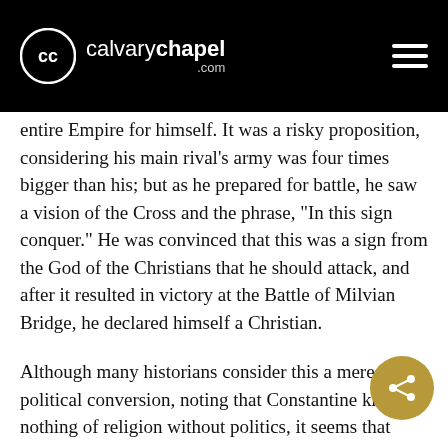calvarychapel.com
entire Empire for himself. It was a risky proposition, considering his main rival's army was four times bigger than his; but as he prepared for battle, he saw a vision of the Cross and the phrase, “In this sign conquer.” He was convinced that this was a sign from the God of the Christians that he should attack, and after it resulted in victory at the Battle of Milvian Bridge, he declared himself a Christian.
Although many historians consider this a mere political conversion, noting that Constantine knew nothing of religion without politics, it seems that